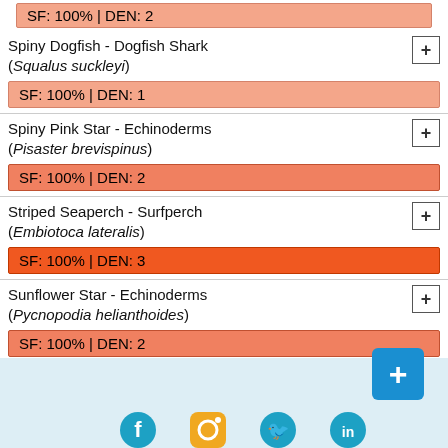SF: 100% | DEN: 2
Spiny Dogfish - Dogfish Shark (Squalus suckleyi)
SF: 100% | DEN: 1
Spiny Pink Star - Echinoderms (Pisaster brevispinus)
SF: 100% | DEN: 2
Striped Seaperch - Surfperch (Embiotoca lateralis)
SF: 100% | DEN: 3
Sunflower Star - Echinoderms (Pycnopodia helianthoides)
SF: 100% | DEN: 2
Tube-dwelling Anemone - Cnidarians (Pachycerianthus fimbriatus)
SF: 100% | DEN: 4